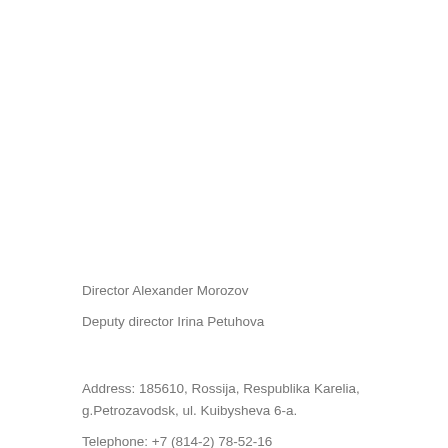Director Alexander Morozov
Deputy director Irina Petuhova
Address: 185610, Rossija, Respublika Karelia, g.Petrozavodsk, ul. Kuibysheva 6-a.
Telephone: +7 (814-2) 78-52-16